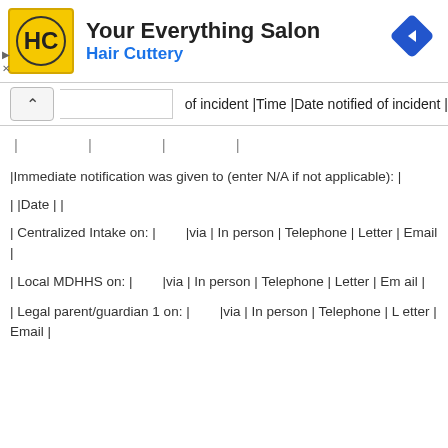[Figure (logo): Hair Cuttery advertisement banner with HC logo, 'Your Everything Salon' title, and blue 'Hair Cuttery' subtitle, with navigation arrow diamond icon]
of incident |Time |Date notified of incident |
| | | |
|Immediate notification was given to (enter N/A if not applicable): |
| |Date | |
| Centralized Intake on: |        |via | In person | Telephone | Letter | Email |
| Local MDHHS on: |        |via | In person | Telephone | Letter | Email |
| Legal parent/guardian 1 on: |        |via | In person | Telephone | Letter | Email |